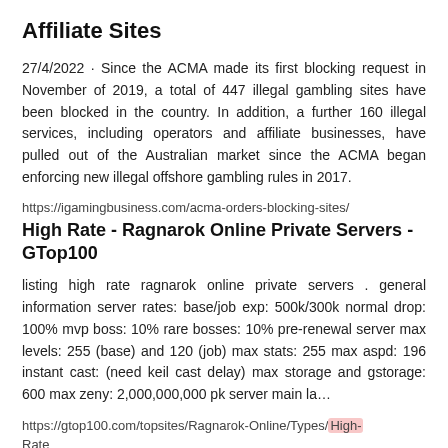Affiliate Sites
27/4/2022 · Since the ACMA made its first blocking request in November of 2019, a total of 447 illegal gambling sites have been blocked in the country. In addition, a further 160 illegal services, including operators and affiliate businesses, have pulled out of the Australian market since the ACMA began enforcing new illegal offshore gambling rules in 2017.
https://igamingbusiness.com/acma-orders-blocking-sites/
High Rate - Ragnarok Online Private Servers - GTop100
listing high rate ragnarok online private servers . general information server rates: base/job exp: 500k/300k normal drop: 100% mvp boss: 10% rare bosses: 10% pre-renewal server max levels: 255 (base) and 120 (job) max stats: 255 max aspd: 196 instant cast: (need keil cast delay) max storage and gstorage: 600 max zeny: 2,000,000,000 pk server main la…
https://gtop100.com/topsites/Ragnarok-Online/Types/High-Rate